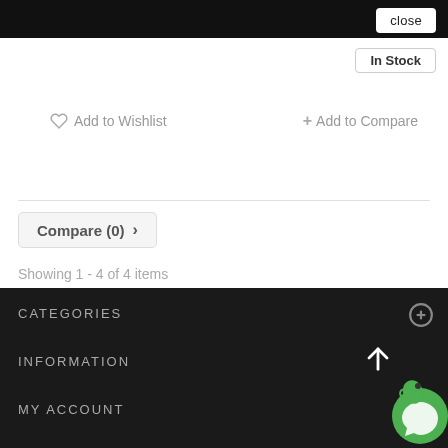close
In Stock
♡ Add to Wishlist
+ Add to Compare
Compare (0) ›
Showing 1 - 4 of 4 items
CATEGORIES
INFORMATION
MY ACCOUNT